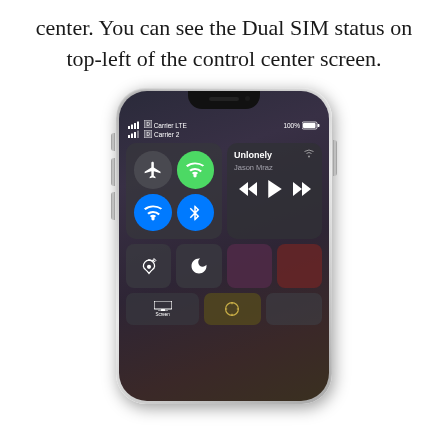center. You can see the Dual SIM status on top-left of the control center screen.
[Figure (screenshot): An iPhone X shown from the top portion, displaying the iOS Control Center. The status bar shows two carriers: 'Carrier LTE' and 'Carrier 2' with signal bars and SIM icons, and '100%' battery. The control center shows airplane mode, WiFi (green/active), WiFi network, and Bluetooth buttons in a grid, plus a music player card showing 'Unlonely' by Jason Mraz with playback controls. Below are additional control tiles including screen rotation lock and do not disturb, and at the bottom a screen mirroring tile.]